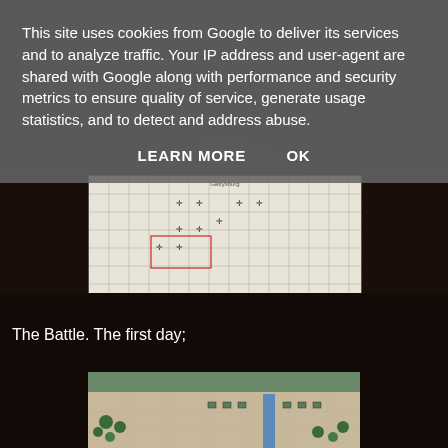This site uses cookies from Google to deliver its services and to analyze traffic. Your IP address and user-agent are shared with Google along with performance and security metrics to ensure quality of service, generate usage statistics, and to detect and address abuse.
LEARN MORE    OK
[Figure (photo): Overhead photo of a wargame map/board on a table showing a grid-based military simulation map with unit counters placed on it, positioned in front of other items on a table.]
The Battle. The first day;
[Figure (photo): Photo of a tabletop wargame with miniature figures, terrain pieces including green bushes/trees, blue river strip, and various unit markers on a tiled board.]